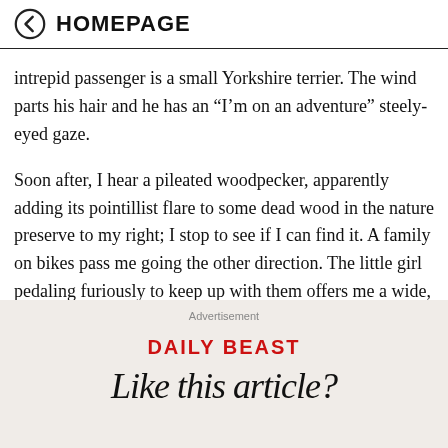HOMEPAGE
intrepid passenger is a small Yorkshire terrier. The wind parts his hair and he has an “I’m on an adventure” steely-eyed gaze.
Soon after, I hear a pileated woodpecker, apparently adding its pointillist flare to some dead wood in the nature preserve to my right; I stop to see if I can find it. A family on bikes pass me going the other direction. The little girl pedaling furiously to keep up with them offers me a wide, tooth-bare smile and a spirited wave.
Advertisement
DAILY BEAST
Like this article?